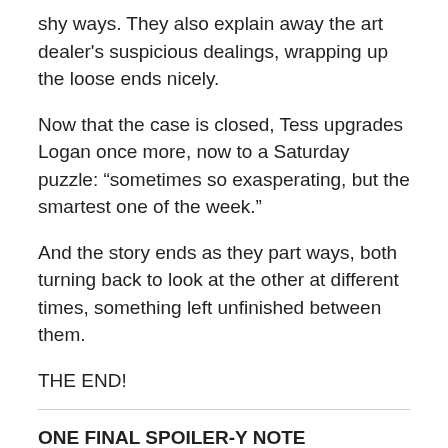shy ways. They also explain away the art dealer's suspicious dealings, wrapping up the loose ends nicely.
Now that the case is closed, Tess upgrades Logan once more, now to a Saturday puzzle: “sometimes so exasperating, but the smartest one of the week.”
And the story ends as they part ways, both turning back to look at the other at different times, something left unfinished between them.
THE END!
ONE FINAL SPOILER-Y NOTE
We never find out why Alan was carrying the crossword in his pocket in the first place, though I have a theory.